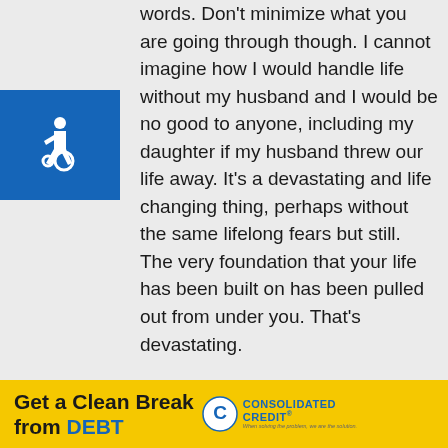words. Don't minimize what you are going through though. I cannot imagine how I would handle life without my husband and I would be no good to anyone, including my daughter if my husband threw our life away. It's a devastating and life changing thing, perhaps without the same lifelong fears but still. The very foundation that your life has been built on has been pulled out from under you. That's devastating.
[Figure (illustration): Accessibility wheelchair icon - white wheelchair symbol on blue square background]
One thing (of oodles and oodles of things) that my journey with autism has taught me is that is that anything can happen anytime and it is what we do with our disappointments, challenges and heartbreak which matters more than the actual nature of it. So, I am learning from you and I hope maybe you can get
[Figure (infographic): Advertisement banner: Get a Clean Break from DEBT - Consolidated Credit logo on yellow background]